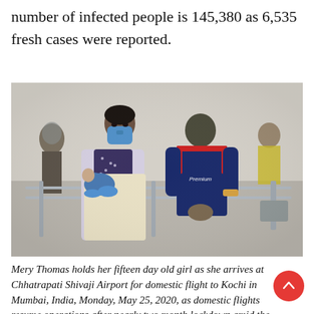number of infected people is 145,380 as 6,535 fresh cases were reported.
[Figure (photo): A woman wearing a blue face mask holds a newborn baby wrapped in blue cloth. She is standing at what appears to be an airport check-in area. A man in a navy blue polo shirt with red accents stands with his back to the camera. Other masked individuals are visible in the blurred background.]
Mery Thomas holds her fifteen day old girl as she arrives at Chhatrapati Shivaji Airport for domestic flight to Kochi in Mumbai, India, Monday, May 25, 2020, as domestic flights resume operations after nearly two month lockdown amid the COVID-19...